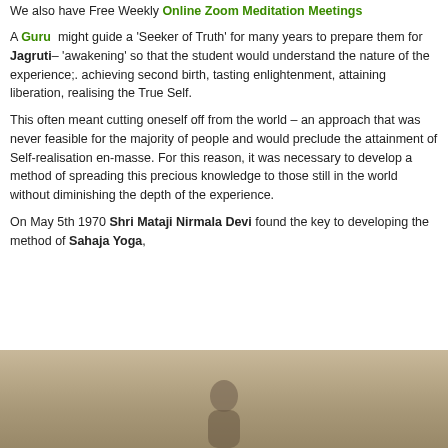We also have Free Weekly Online Zoom Meditation Meetings
A Guru might guide a 'Seeker of Truth' for many years to prepare them for Jagruti– 'awakening' so that the student would understand the nature of the experience;. achieving second birth, tasting enlightenment, attaining liberation, realising the True Self.
This often meant cutting oneself off from the world – an approach that was never feasible for the majority of people and would preclude the attainment of Self-realisation en-masse. For this reason, it was necessary to develop a method of spreading this precious knowledge to those still in the world without diminishing the depth of the experience.
On May 5th 1970 Shri Mataji Nirmala Devi found the key to developing the method of Sahaja Yoga,
[Figure (photo): Photo of a person, partially visible at the bottom of the page, with a curtained background in warm beige/tan tones.]